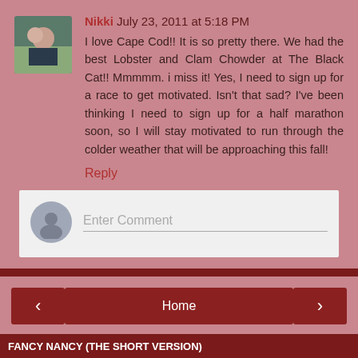Nikki July 23, 2011 at 5:18 PM
I love Cape Cod!! It is so pretty there. We had the best Lobster and Clam Chowder at The Black Cat!! Mmmmm. i miss it! Yes, I need to sign up for a race to get motivated. Isn't that sad? I've been thinking I need to sign up for a half marathon soon, so I will stay motivated to run through the colder weather that will be approaching this fall!
Reply
Enter Comment
Home
View web version
FANCY NANCY (THE SHORT VERSION)